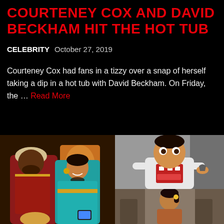COURTENEY COX AND DAVID BECKHAM HIT THE HOT TUB
CELEBRITY  October 27, 2019
Courteney Cox had fans in a tizzy over a snap of herself taking a dip in a hot tub with David Beckham. On Friday, the … Read More
[Figure (photo): Left photo: Two adults in Aladdin-themed Halloween costumes (man dressed as Genie, woman dressed as Jasmine) with a child below. Right top photo: A young Asian toddler boy in a white sweatshirt with a red robot design, holding a small toy dinosaur. Right bottom photo: A young girl indoors.]